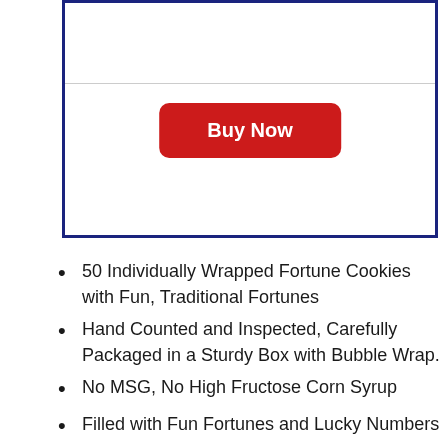[Figure (other): A bordered box with a horizontal divider line and a red 'Buy Now' button]
50 Individually Wrapped Fortune Cookies with Fun, Traditional Fortunes
Hand Counted and Inspected, Carefully Packaged in a Sturdy Box with Bubble Wrap.
No MSG, No High Fructose Corn Syrup
Filled with Fun Fortunes and Lucky Numbers
Made in USA, Ingredients: Wheat Flour, Water, Sugar, Less than 2% of Dextrose, Natural and Artificial Flavors, Soybean Oil, Partially Hydrogenated Soybean Oil and/or Cottonseed Oil, Corn Oil, Salt, Sodium